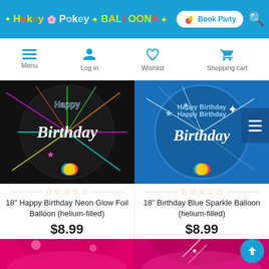Hokey Pokey Balloons — Book Party
[Figure (screenshot): Website navigation bar with Menu, Log in, Wishlist, Shopping cart icons]
[Figure (photo): 18 inch Happy Birthday Neon Glow Foil Balloon black background with colorful neon text]
18" Happy Birthday Neon Glow Foil Balloon (helium-filled)
$8.99
[Figure (photo): 18 inch Birthday Blue Sparkle Balloon with blue background and sparkle effects]
18" Birthday Blue Sparkle Balloon (helium-filled)
$8.99
[Figure (photo): Partial view of pink/magenta balloon at bottom left]
[Figure (photo): Partial view of pink/magenta sparkle balloon at bottom right]